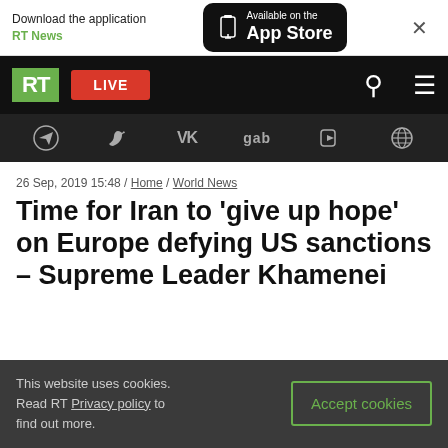Download the application RT News — Available on the App Store
[Figure (screenshot): RT website navigation bar with RT logo, LIVE button, search and menu icons]
[Figure (screenshot): Social media icons bar: Telegram, Twitter, VK, gab, Odysee, and globe icon]
26 Sep, 2019 15:48 / Home / World News
Time for Iran to 'give up hope' on Europe defying US sanctions – Supreme Leader Khamenei
This website uses cookies. Read RT Privacy policy to find out more.